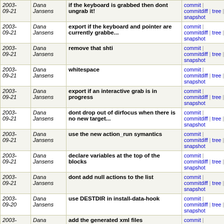| Date | Author | Message | Links |
| --- | --- | --- | --- |
| 2003-09-21 | Dana Jansens | if the keyboard is grabbed then dont ungrab it! | commit | commitdiff | tree | snapshot |
| 2003-09-21 | Dana Jansens | export if the keyboard and pointer are currently grabbe... | commit | commitdiff | tree | snapshot |
| 2003-09-21 | Dana Jansens | remove that shti | commit | commitdiff | tree | snapshot |
| 2003-09-21 | Dana Jansens | whitespace | commit | commitdiff | tree | snapshot |
| 2003-09-21 | Dana Jansens | export if an interactive grab is in progress | commit | commitdiff | tree | snapshot |
| 2003-09-21 | Dana Jansens | dont drop out of dirfocus when there is no new target... | commit | commitdiff | tree | snapshot |
| 2003-09-21 | Dana Jansens | use the new action_run symantics | commit | commitdiff | tree | snapshot |
| 2003-09-21 | Dana Jansens | declare variables at the top of the blocks | commit | commitdiff | tree | snapshot |
| 2003-09-21 | Dana Jansens | dont add null actions to the list | commit | commitdiff | tree | snapshot |
| 2003-09-20 | Dana Jansens | use DESTDIR in install-data-hook | commit | commitdiff | tree | snapshot |
| 2003-09-19 | Dana Jansens | add the generated xml files | commit | commitdiff | tree | snapshot |
| 2003-09-19 | Dana Jansens | smart xinerama placement for groups | commit | commitdiff | tree | snapshot |
| 2003-09-19 | Dana Jansens | smart placement has a fallback for just groups now too | commit | commitdiff | tree | snapshot |